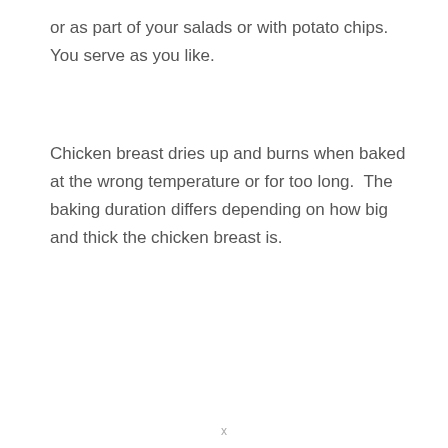or as part of your salads or with potato chips. You serve as you like.
Chicken breast dries up and burns when baked at the wrong temperature or for too long.  The baking duration differs depending on how big and thick the chicken breast is.
x